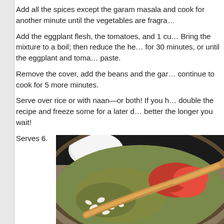Add all the spices except the garam masala and cook for another minute until the vegetables are fragrant.
Add the eggplant flesh, the tomatoes, and 1 cup of water. Bring the mixture to a boil; then reduce the heat and cook for 30 minutes, or until the eggplant and tomatoes form a paste.
Remove the cover, add the beans and the garam masala, continue to cook for 5 more minutes.
Serve over rice or with naan—or both! If you have time, double the recipe and freeze some for a later date; it gets better the longer you wait!
Serves 6.
[Figure (photo): Cooking pan with eggplant mixture, chopped vegetables, and tomatoes being stirred with a wooden spoon]